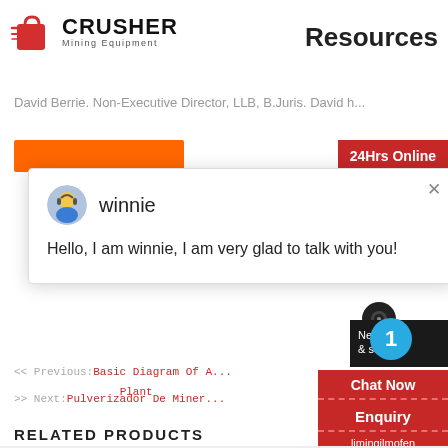[Figure (logo): Crusher Mining Equipment logo with red shopping bag icon and bold CRUSHER text]
Resources
David Berrie. Non-Executive Director, LLB, B.Juris. David h...
[Figure (screenshot): Chat popup with avatar of winnie, message: Hello, I am winnie, I am very glad to talk with you!]
<< Previous:Basic Diagram Of A... Plant
>> Next:Pulverizador De Miner...
RELATED PRODUCTS
[Figure (infographic): Right sidebar with 24Hrs Online badge, Need & suggestions panel, blue notification bubble with 1, Chat Now button, Enquiry label, limingjlmofen@sina.com email]